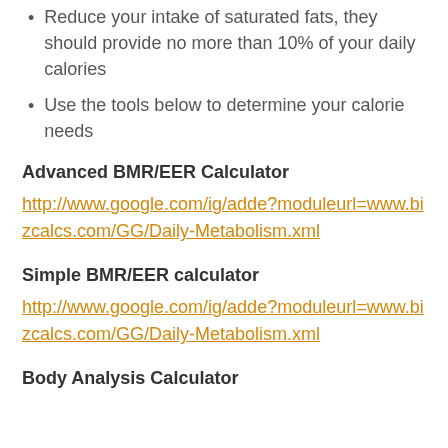Reduce your intake of saturated fats, they should provide no more than 10% of your daily calories
Use the tools below to determine your calorie needs
Advanced BMR/EER Calculator
http://www.google.com/ig/adde?moduleurl=www.bizcalcs.com/GG/Daily-Metabolism.xml
Simple BMR/EER calculator
http://www.google.com/ig/adde?moduleurl=www.bizcalcs.com/GG/Daily-Metabolism.xml
Body Analysis Calculator